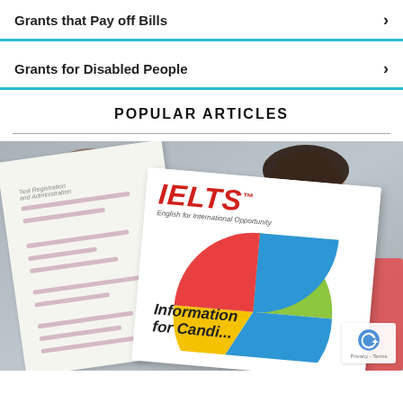Grants that Pay off Bills
Grants for Disabled People
POPULAR ARTICLES
[Figure (photo): Two people holding up an IELTS (English for International Opportunity) information booklet. The booklet shows the IELTS logo in red italic text and a colorful circular design. Text reads 'Information for Candi...' A paper document is visible on the left side. A reCAPTCHA badge appears in the bottom-right corner with 'Privacy - Terms' text.]